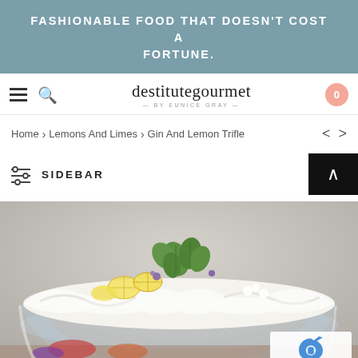FASHIONABLE FOOD THAT DOESN'T COST A FORTUNE.
[Figure (logo): destitutegourmet logo with hamburger menu, search icon, and cart button]
Home > Lemons And Limes > Gin And Lemon Trifle
SIDEBAR
[Figure (photo): A glass trifle bowl filled with gin and lemon trifle, topped with whipped cream, lemon slices, mint leaves, and edible flowers.]